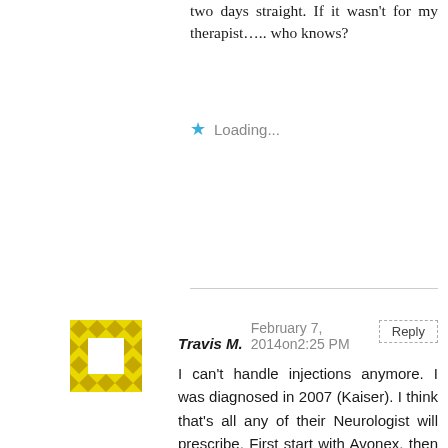two days straight. If it wasn't for my therapist….. who knows?
Loading...
Travis M.    February 7, 2014on2:25 PM
I can't handle injections anymore. I was diagnosed in 2007 (Kaiser). I think that's all any of their Neurologist will prescribe. First start with Avonex, then betaseron and they all made me very depressed. I lost my career occupation (Printing). I was broke, MediCal wanted me to pay the first $1400 monthly share of cost.